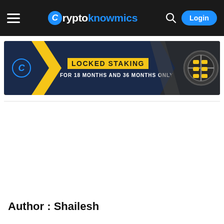Cryptoknowmics — Login
[Figure (infographic): Locked Staking banner advertisement: dark navy background with yellow chevron on left, text 'LOCKED STAKING FOR 18 MONTHS AND 36 MONTHS ONLY', and a vault/safe graphic on the right.]
Author : Shailesh